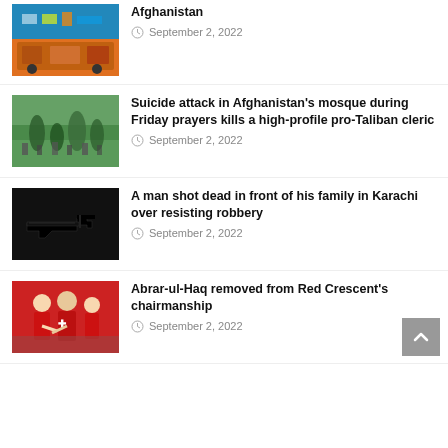[Figure (photo): Truck or vehicle with colorful decorations, Afghan scene]
Afghanistan
September 2, 2022
[Figure (photo): Crowd of people outdoors, likely at a mosque or gathering in Afghanistan]
Suicide attack in Afghanistan's mosque during Friday prayers kills a high-profile pro-Taliban cleric
September 2, 2022
[Figure (photo): Silhouette of a gun against a light background]
A man shot dead in front of his family in Karachi over resisting robbery
September 2, 2022
[Figure (photo): People in red uniforms, Red Crescent workers]
Abrar-ul-Haq removed from Red Crescent's chairmanship
September 2, 2022